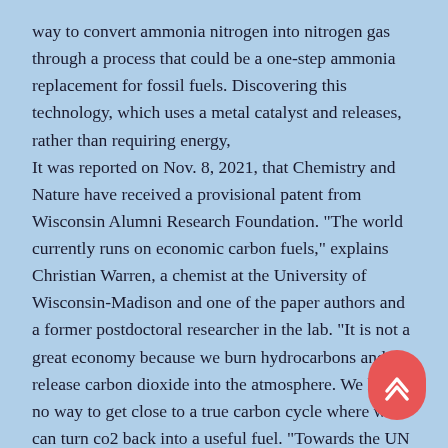way to convert ammonia nitrogen into nitrogen gas through a process that could be a one-step ammonia replacement for fossil fuels. Discovering this technology, which uses a metal catalyst and releases, rather than requiring energy,
It was reported on Nov. 8, 2021, that Chemistry and Nature have received a provisional patent from Wisconsin Alumni Research Foundation. "The world currently runs on economic carbon fuels," explains Christian Warren, a chemist at the University of Wisconsin-Madison and one of the paper authors and a former postdoctoral researcher in the lab. "It is not a great economy because we burn hydrocarbons and release carbon dioxide into the atmosphere. We have no way to get close to a true carbon cycle where we can turn co2 back into a useful fuel. "Towards the UN goal of a world that is carbon neutral by 2050, scientists must consider environmentally responsible ways to create energy other than elem carbon, and the team at the University of Wisconsin-Madison in th proposes a nitrogen and ammonium-nitrogen energy economy based on the alternation phenomenon.